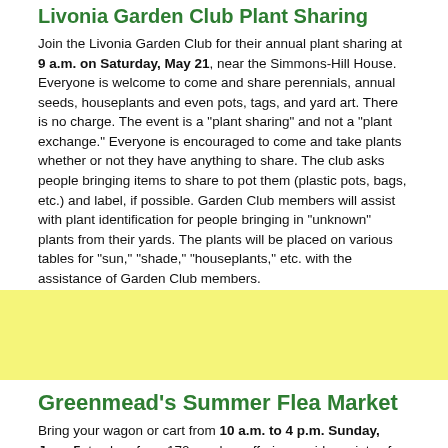Livonia Garden Club Plant Sharing
Join the Livonia Garden Club for their annual plant sharing at 9 a.m. on Saturday, May 21, near the Simmons-Hill House. Everyone is welcome to come and share perennials, annual seeds, houseplants and even pots, tags, and yard art. There is no charge. The event is a "plant sharing" and not a "plant exchange." Everyone is encouraged to come and take plants whether or not they have anything to share. The club asks people bringing items to share to pot them (plastic pots, bags, etc.) and label, if possible. Garden Club members will assist with plant identification for people bringing in "unknown" plants from their yards. The plants will be placed on various tables for "sun," "shade," "houseplants," etc. with the assistance of Garden Club members.
[Figure (other): Yellow banner/advertisement area]
Greenmead's Summer Flea Market
Bring your wagon or cart from 10 a.m. to 4 p.m. Sunday, June 5, to shop from 170 vendors offering a wide variety of items for sale. No dogs permitted at the event. $3 adult